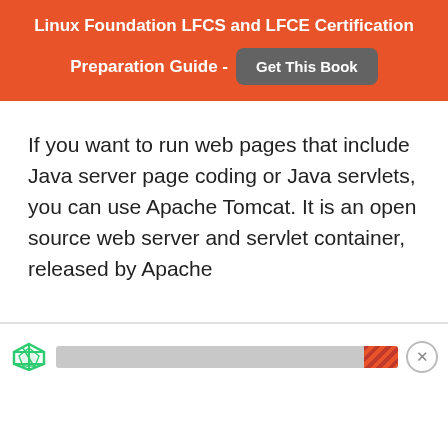Linux Foundation LFCS and LFCE Certification Preparation Guide - Get This Book
If you want to run web pages that include Java server page coding or Java servlets, you can use Apache Tomcat. It is an open source web server and servlet container, released by Apache
[Figure (other): Advertisement bar with filter icon, grey progress bar with red diagonally striped right end, and a close (X) button]